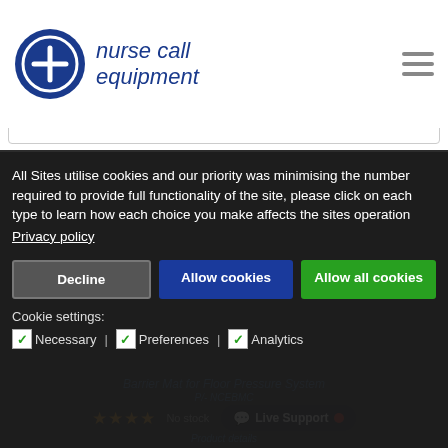nurse call equipment
[Figure (screenshot): Website screenshot showing nurse call equipment logo with blue circle and plus sign, site navigation hamburger menu, search bar, and a dark product photo in background]
All Sites utilise cookies and our priority was minimising the number required to provide full functionality of the site, please click on each type to learn how each choice you make affects the sites operation
Privacy policy
Decline | Allow cookies | Allow all cookies
Cookie settings:
☑ Necessary | ☑ Preferences | ☑ Analytics
Barrier Mat for Floor Pressure System
No stock
Live Support
Product details